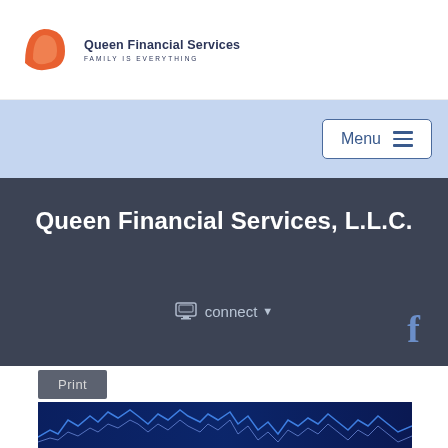[Figure (logo): Queen Financial Services logo with orange geometric shape and company name]
Queen Financial Services
FAMILY IS EVERYTHING
Menu ≡
Queen Financial Services, L.L.C.
connect ▾
f
Print
[Figure (screenshot): Stock market candlestick chart with blue tones, showing financial data lines on dark blue background]